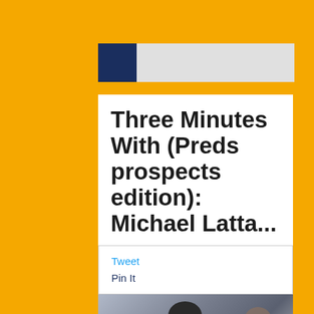[Figure (other): Dark navy blue square logo/icon on a light gray header bar background]
Three Minutes With (Preds prospects edition): Michael Latta...
Tweet
Pin It
[Figure (photo): Hockey player wearing jersey number 65 with name LATTA on it, on an ice rink, with a spectator visible in the background behind the boards]